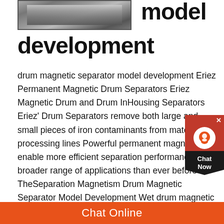[Figure (photo): Industrial drum magnetic separator equipment photo]
model development
drum magnetic separator model development Eriez Permanent Magnetic Drum Separators Eriez Magnetic Drum and Drum InHousing Separators Eriez' Drum Separators remove both large and small pieces of iron contaminants from material processing lines Powerful permanent magnets enable more efficient separation performance for a broader range of applications than ever before TheSeparation Magnetism Drum Magnetic Separator Model Development Wet drum magnetic separators siing and separator parameters The purpose of the wet drum magnetic separator is to recover magnetite in the heavy media circuit When properly applied the magnetic loss to the wet drum nonmagnetic effluent will be
Chat Online